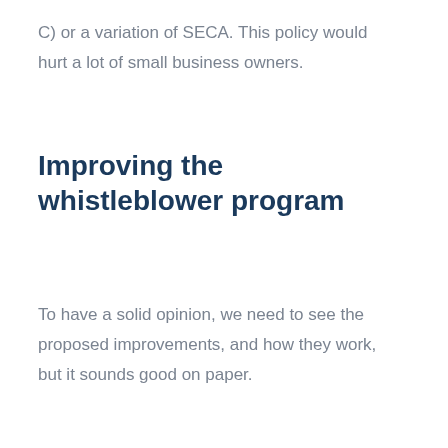C) or a variation of SECA. This policy would hurt a lot of small business owners.
Improving the whistleblower program
To have a solid opinion, we need to see the proposed improvements, and how they work, but it sounds good on paper.